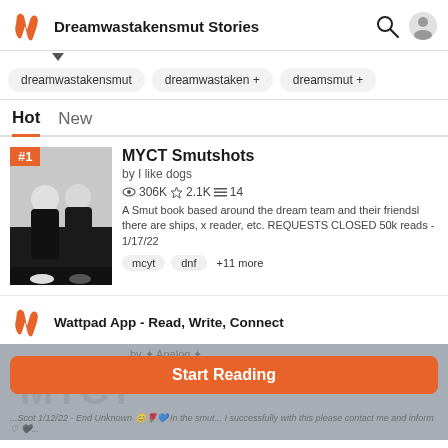Dreamwastakensmut Stories
dreamwastakensmut   dreamwastaken +   dreamsmut +
Hot   New
MYCT Smutshots
by I like dogs
306K  2.1K  14
A Smut book based around the dream team and their friendsl there are ships, x reader, etc. REQUESTS CLOSED 50k reads - 1/17/22
mcyt   dnf   +11 more
Wattpad App - Read, Write, Connect
Start Reading
Log in with Browser